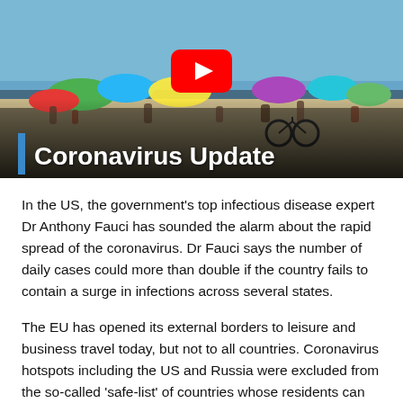[Figure (screenshot): YouTube video thumbnail showing a crowded beach scene with colorful umbrellas. A red YouTube play button is centered in the upper portion. A blue vertical bar and bold white text reading 'Coronavirus Update' appear in the lower-left area over a dark gradient overlay.]
In the US, the government's top infectious disease expert Dr Anthony Fauci has sounded the alarm about the rapid spread of the coronavirus. Dr Fauci says the number of daily cases could more than double if the country fails to contain a surge in infections across several states.
The EU has opened its external borders to leisure and business travel today, but not to all countries. Coronavirus hotspots including the US and Russia were excluded from the so-called 'safe-list' of countries whose residents can enter the bloc.